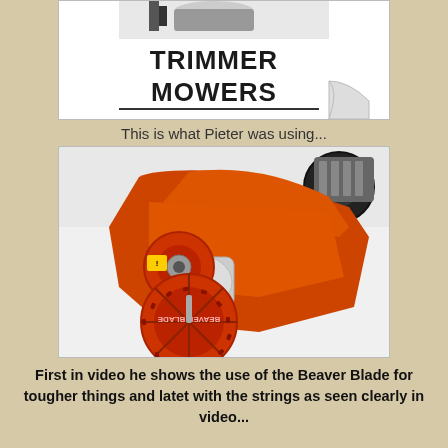[Figure (photo): Photo of a trimmer mower product with text 'TRIMMER MOWERS' in bold black on white background with a curled page corner effect]
This is what Pieter was using...
[Figure (photo): Close-up photo of an orange trimmer mower showing the Beaver Blade circular cutting blade attachment at the bottom and the engine/motor housing]
First in video he shows the use of the Beaver Blade for tougher things and latet with the strings as seen clearly in video...